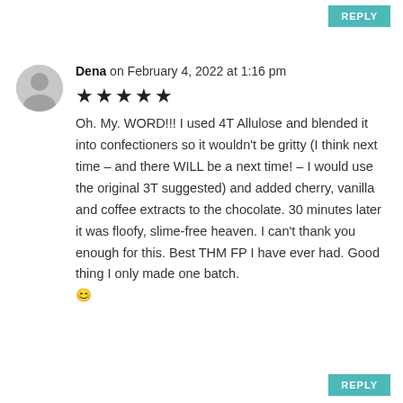REPLY
Dena on February 4, 2022 at 1:16 pm ★★★★★ Oh. My. WORD!!! I used 4T Allulose and blended it into confectioners so it wouldn't be gritty (I think next time – and there WILL be a next time! – I would use the original 3T suggested) and added cherry, vanilla and coffee extracts to the chocolate. 30 minutes later it was floofy, slime-free heaven. I can't thank you enough for this. Best THM FP I have ever had. Good thing I only made one batch. 😊
REPLY